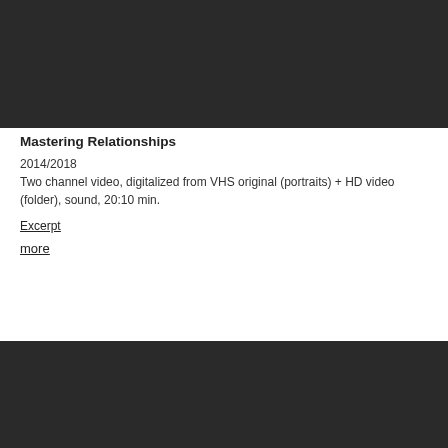[Figure (photo): Dark/black video still frame at the top of the page]
Mastering Relationships
2014/2018
Two channel video, digitalized from VHS original (portraits) + HD video (folder), sound, 20:10 min.
Excerpt
more
[Figure (photo): Dark/black video still frame at the bottom of the page]